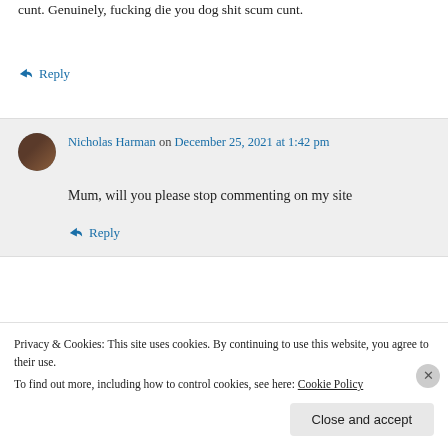cunt. Genuinely, fucking die you dog shit scum cunt.
↳ Reply
Nicholas Harman on December 25, 2021 at 1:42 pm
Mum, will you please stop commenting on my site
↳ Reply
Privacy & Cookies: This site uses cookies. By continuing to use this website, you agree to their use.
To find out more, including how to control cookies, see here: Cookie Policy
Close and accept